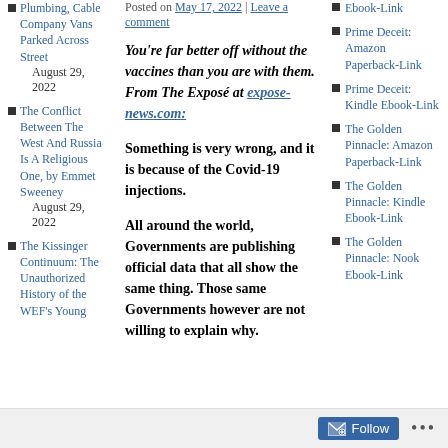Plumbing, Cable Company Vans Parked Across Street August 29, 2022
The Conflict Between The West And Russia Is A Religious One, by Emmet Sweeney August 29, 2022
The Kissinger Continuum: The Unauthorized History of the WEF's Young...
Posted on May 17, 2022 | Leave a comment
You're far better off without the vaccines than you are with them. From The Exposé at expose-news.com:
Something is very wrong, and it is because of the Covid-19 injections.
All around the world, Governments are publishing official data that all show the same thing. Those same Governments however are not willing to explain why.
Ebook-Link
Prime Deceit: Amazon Paperback-Link
Prime Deceit: Kindle Ebook-Link
The Golden Pinnacle: Amazon Paperback-Link
The Golden Pinnacle: Kindle Ebook-Link
The Golden Pinnacle: Nook Ebook-Link
Follow